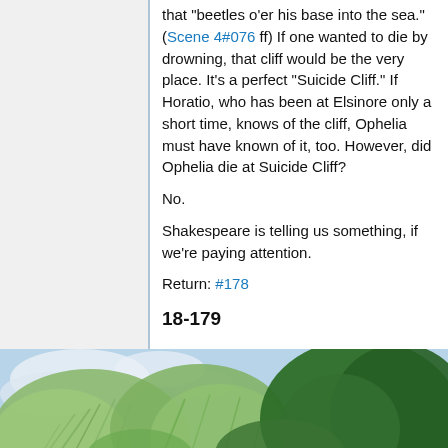that "beetles o'er his base into the sea." (Scene 4#076 ff) If one wanted to die by drowning, that cliff would be the very place. It's a perfect "Suicide Cliff." If Horatio, who has been at Elsinore only a short time, knows of the cliff, Ophelia must have known of it, too. However, did Ophelia die at Suicide Cliff?
No.
Shakespeare is telling us something, if we're paying attention.
Return: #178
18-179
[Figure (photo): Photograph of weeping willow trees and green foliage against a partly cloudy blue and white sky.]